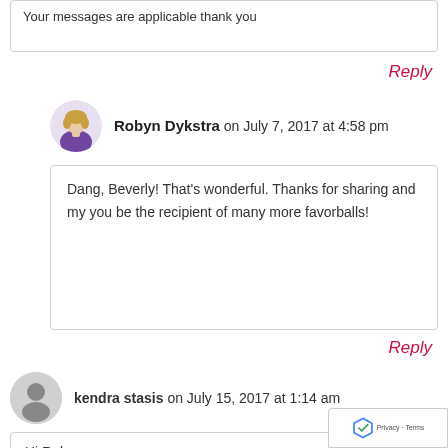Your messages are applicable thank you
Reply
Robyn Dykstra on July 7, 2017 at 4:58 pm
Dang, Beverly! That's wonderful. Thanks for sharing and my you be the recipient of many more favorballs!
Reply
kendra stasis on July 15, 2017 at 1:14 am
Hi Robyn,
I so enjoy your emails! I have forwarded some to uplift others.